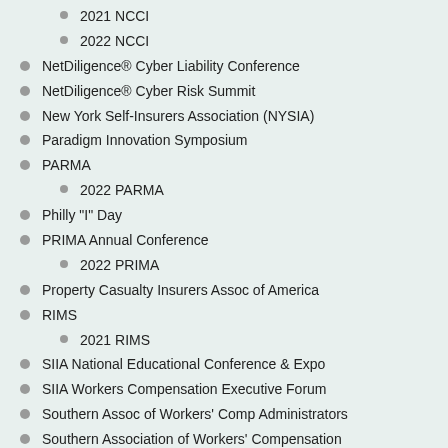2021 NCCI
2022 NCCI
NetDiligence® Cyber Liability Conference
NetDiligence® Cyber Risk Summit
New York Self-Insurers Association (NYSIA)
Paradigm Innovation Symposium
PARMA
2022 PARMA
Philly "I" Day
PRIMA Annual Conference
2022 PRIMA
Property Casualty Insurers Assoc of America
RIMS
2021 RIMS
SIIA National Educational Conference & Expo
SIIA Workers Compensation Executive Forum
Southern Assoc of Workers' Comp Administrators
Southern Association of Workers' Compensation Administrators (SAWCA)
2021 SAWCA